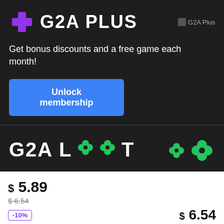[Figure (logo): G2A Plus logo with purple plus icon and white bold text 'G2A PLUS']
Get bonus discounts and a free game each month!
Unlock membership
[Figure (logo): G2A Loot logo with green four-leaf clover icons replacing the O letters, and green clover icons on the right]
$ 5.89
$ 6.54
-10%
$ 6.54
Buy with G2A Plus
Add to cart